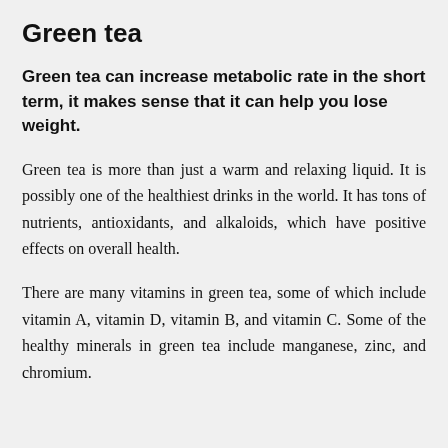Green tea
Green tea can increase metabolic rate in the short term, it makes sense that it can help you lose weight.
Green tea is more than just a warm and relaxing liquid. It is possibly one of the healthiest drinks in the world. It has tons of nutrients, antioxidants, and alkaloids, which have positive effects on overall health.
There are many vitamins in green tea, some of which include vitamin A, vitamin D, vitamin B, and vitamin C. Some of the healthy minerals in green tea include manganese, zinc, and chromium.